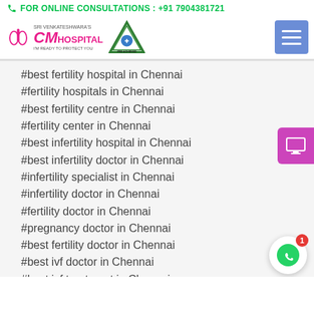FOR ONLINE CONSULTATIONS : +91 7904381721
[Figure (logo): CM Hospital logo with lungs icon, triangle PRE-ACHIVED badge, and hamburger menu button]
#best fertility hospital in Chennai
#fertility hospitals in Chennai
#best fertility centre in Chennai
#fertility center in Chennai
#best infertility hospital in Chennai
#best infertility doctor in Chennai
#infertility specialist in Chennai
#infertility doctor in Chennai
#fertility doctor in Chennai
#pregnancy doctor in Chennai
#best fertility doctor in Chennai
#best ivf doctor in Chennai
#best ivf treatment in Chennai